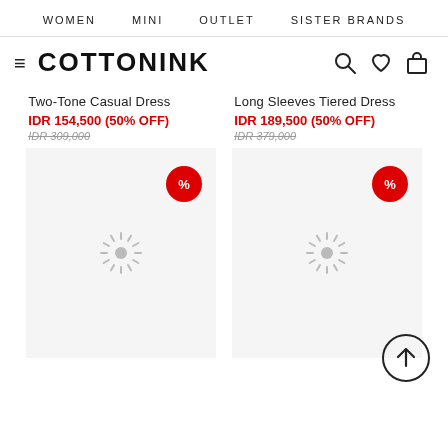WOMEN    MINI    OUTLET    SISTER BRANDS
COTTONINK
Two-Tone Casual Dress
IDR 154,500 (50% OFF)
IDR 309,000
Long Sleeves Tiered Dress
IDR 189,500 (50% OFF)
IDR 379,000
[Figure (other): Loading spinner placeholder for Two-Tone Casual Dress product image with red % discount badge]
[Figure (other): Loading spinner placeholder for Long Sleeves Tiered Dress product image with red % discount badge and scroll-to-top button]